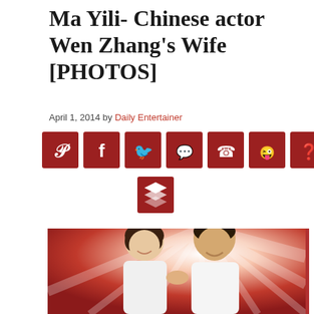Ma Yili- Chinese actor Wen Zhang's Wife [PHOTOS]
April 1, 2014 by Daily Entertainer
[Figure (other): Social media share buttons row: Pinterest, Facebook, Twitter, Messenger, WhatsApp, Reddit, Pocket (dark red squares), and a Buffer/layers button below center]
[Figure (photo): Photo of Ma Yili and Wen Zhang smiling, holding hands, wearing white shirts, against a red sunburst background]